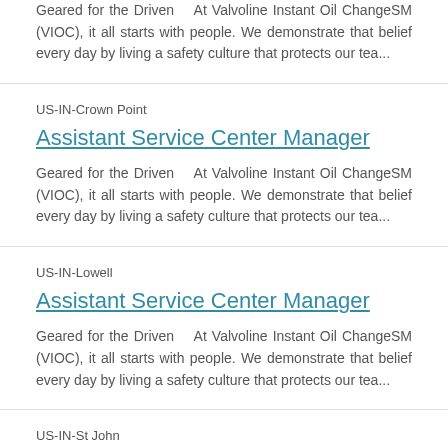Geared for the Driven   At Valvoline Instant Oil ChangeSM (VIOC), it all starts with people. We demonstrate that belief every day by living a safety culture that protects our tea...
US-IN-Crown Point
Assistant Service Center Manager
Geared for the Driven   At Valvoline Instant Oil ChangeSM (VIOC), it all starts with people. We demonstrate that belief every day by living a safety culture that protects our tea...
US-IN-Lowell
Assistant Service Center Manager
Geared for the Driven   At Valvoline Instant Oil ChangeSM (VIOC), it all starts with people. We demonstrate that belief every day by living a safety culture that protects our tea...
US-IN-St John